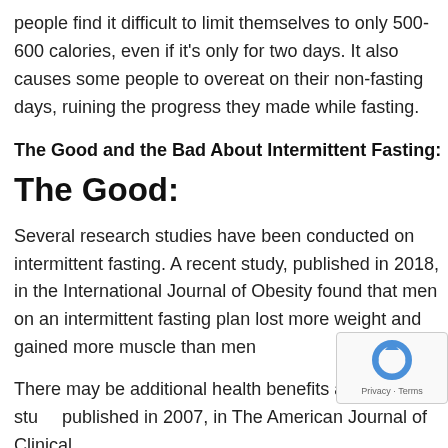people find it difficult to limit themselves to only 500-600 calories, even if it's only for two days. It also causes some people to overeat on their non-fasting days, ruining the progress they made while fasting.
The Good and the Bad About Intermittent Fasting:
The Good:
Several research studies have been conducted on intermittent fasting. A recent study, published in 2018, in the International Journal of Obesity found that men on an intermittent fasting plan lost more weight and gained more muscle than men
There may be additional health benefits as well. A stu published in 2007, in The American Journal of Clinical